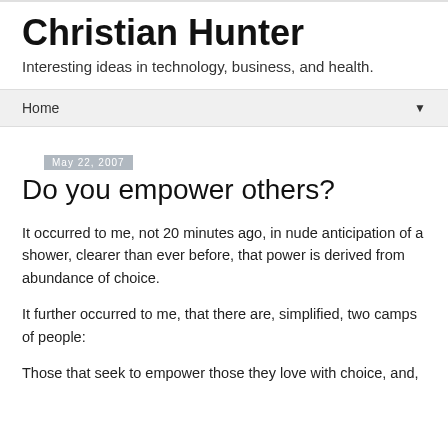Christian Hunter
Interesting ideas in technology, business, and health.
Home ▼
May 22, 2007
Do you empower others?
It occurred to me, not 20 minutes ago, in nude anticipation of a shower, clearer than ever before, that power is derived from abundance of choice.
It further occurred to me, that there are, simplified, two camps of people:
Those that seek to empower those they love with choice, and,